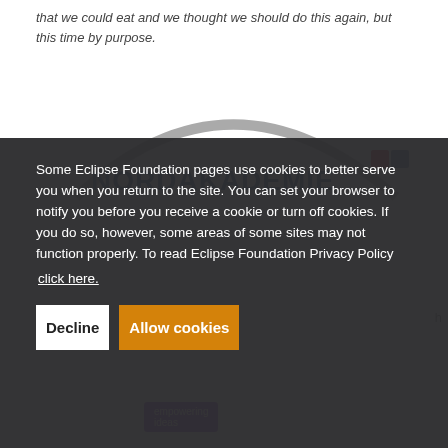that we could eat and we thought we should do this again, but this time by purpose.
[Figure (logo): Nordakademie logo — partial arc shape at top with NORDAKADEMIE text in blue and dark navy letters, partially visible]
Some Eclipse Foundation pages use cookies to better serve you when you return to the site. You can set your browser to notify you before you receive a cookie or turn off cookies. If you do so, however, some areas of some sites may not function properly. To read Eclipse Foundation Privacy Policy click here.
Decline
Allow cookies
empowering ideas